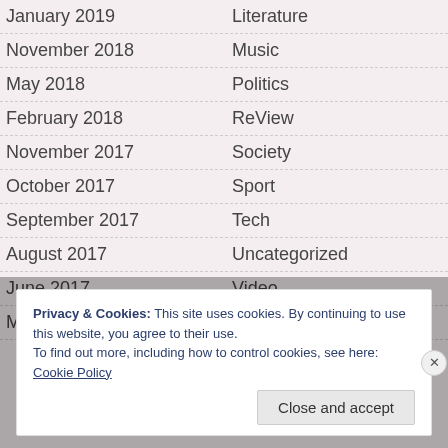January 2019 | Literature
November 2018 | Music
May 2018 | Politics
February 2018 | ReView
November 2017 | Society
October 2017 | Sport
September 2017 | Tech
August 2017 | Uncategorized
June 2017 | Video
Ma... | ...
Privacy & Cookies: This site uses cookies. By continuing to use this website, you agree to their use.
To find out more, including how to control cookies, see here: Cookie Policy
Close and accept